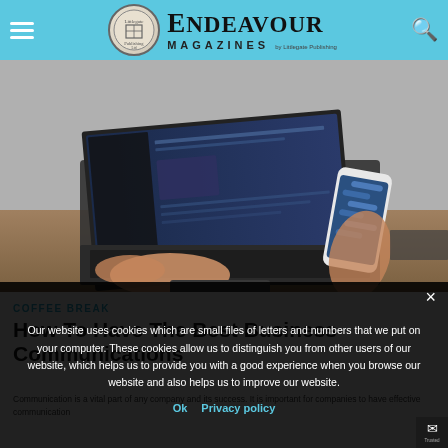Endeavour Magazines by Littlegate Publishing
[Figure (photo): Person typing on a laptop while holding a smartphone showing messages, both devices in use simultaneously on a wooden desk]
COFFEE BREAK
How To Have The Best Business Communications
Communication is a vital part of any company and its success. It is important for companies to have effective communication
Our website uses cookies which are small files of letters and numbers that we put on your computer. These cookies allow us to distinguish you from other users of our website, which helps us to provide you with a good experience when you browse our website and also helps us to improve our website.
Ok   Privacy policy